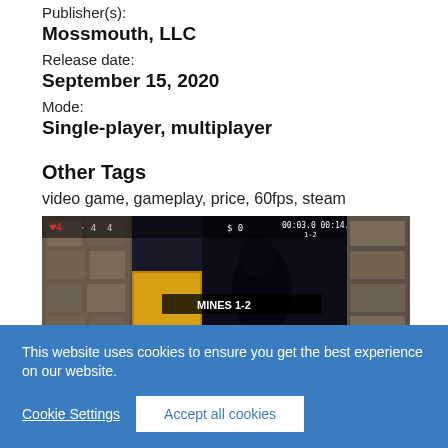Publisher(s):
Mossmouth, LLC
Release date:
September 15, 2020
Mode:
Single-player, multiplayer
Other Tags
video game, gameplay, price, 60fps, steam
[Figure (screenshot): Screenshot of a video game showing cave/mines level called MINES 1-2 with health indicators, timers, and dark dungeon environment]
This website uses cookies to ensure you get the best experience on our website.
Cookie Settings
Accept all cookies